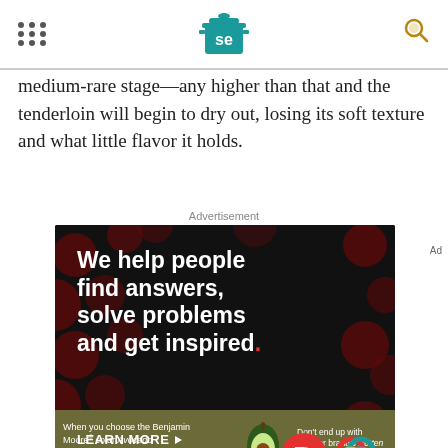SE logo header with navigation dots and search icon
medium-rare stage—any higher than that and the tenderloin will begin to dry out, losing its soft texture and what little flavor it holds.
Advertisement
[Figure (infographic): Dark advertisement banner with text 'We help people find answers, solve problems and get inspired.' with 'LEARN MORE' button and Dotdash Meredith logos]
[Figure (infographic): Benjamin Moore Avocado paint color advertisement showing avocado illustration and text 'When you choose the Benjamin Moore color Avocado... Don't end up with another brand's Rotten Fruit']